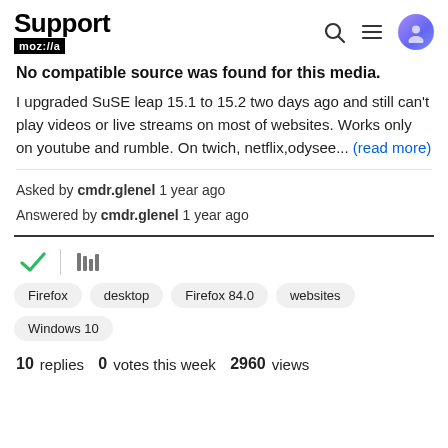Support mozilla
No compatible source was found for this media.
I upgraded SuSE leap 15.1 to 15.2 two days ago and still can't play videos or live streams on most of websites. Works only on youtube and rumble. On twich, netflix,odysee... (read more)
Asked by cmdr.glenel 1 year ago
Answered by cmdr.glenel 1 year ago
[Figure (other): Checkmark icon (green) and library/bookmark icon side by side with a vertical divider between them]
Firefox  desktop  Firefox 84.0  websites  Windows 10
10 replies  0 votes this week  2960 views